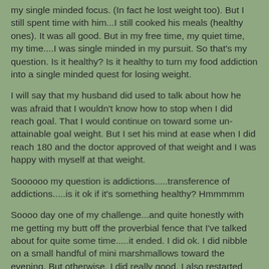my single minded focus. (In fact he lost weight too). But I still spent time with him...I still cooked his meals (healthy ones). It was all good. But in my free time, my quiet time, my time....I was single minded in my pursuit. So that's my question. Is it healthy? Is it healthy to turn my food addiction into a single minded quest for losing weight.
I will say that my husband did used to talk about how he was afraid that I wouldn't know how to stop when I did reach goal. That I would continue on toward some un-attainable goal weight. But I set his mind at ease when I did reach 180 and the doctor approved of that weight and I was happy with myself at that weight.
Soooooo my question is addictions.....transference of addictions.....is it ok if it's something healthy? Hmmmmm
Soooo day one of my challenge...and quite honestly with me getting my butt off the proverbial fence that I've talked about for quite some time.....it ended. I did ok. I did nibble on a small handful of mini marshmallows toward the evening. But otherwise, I did really good. I also restarted taking my multi-vitamins, I need to take them medicine about the giant gust